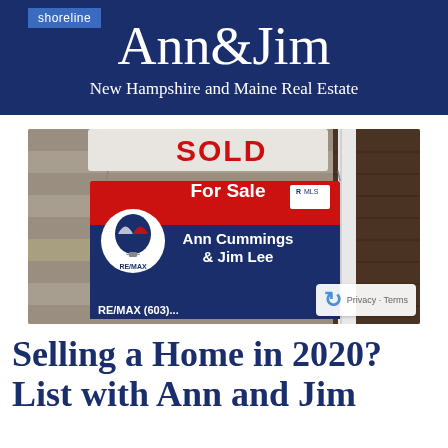shoreline
Ann&Jim
New Hampshire and Maine Real Estate
[Figure (photo): RE/MAX For Sale sign with Ann Cummings & Jim Lee names, showing a real estate yard sign with hot air balloon logo and MLS marker, mounted on a white post against a wooden background. A SOLD sign is partially visible above. Phone number partially visible at bottom: RE/MAX (603)...]
Selling a Home in 2020? List with Ann and Jim